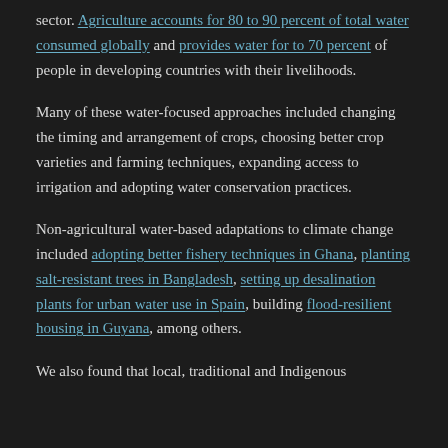sector. Agriculture accounts for 80 to 90 percent of total water consumed globally and provides water for to 70 percent of people in developing countries with their livelihoods.
Many of these water-focused approaches included changing the timing and arrangement of crops, choosing better crop varieties and farming techniques, expanding access to irrigation and adopting water conservation practices.
Non-agricultural water-based adaptations to climate change included adopting better fishery techniques in Ghana, planting salt-resistant trees in Bangladesh, setting up desalination plants for urban water use in Spain, building flood-resilient housing in Guyana, among others.
We also found that local, traditional and Indigenous